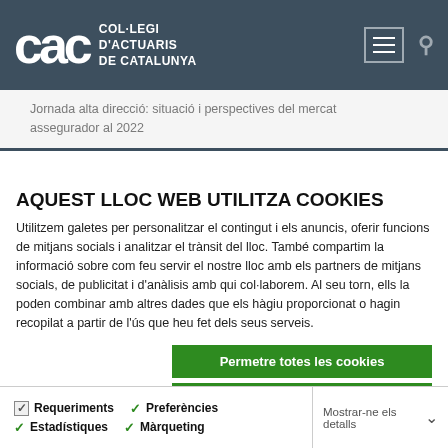[Figure (logo): CAC - Col·legi d'Actuaris de Catalunya logo with white text on dark teal header, hamburger menu icon and search icon]
Jornada alta direcció: situació i perspectives del mercat assegurador al 2022
AQUEST LLOC WEB UTILITZA COOKIES
Utilitzem galetes per personalitzar el contingut i els anuncis, oferir funcions de mitjans socials i analitzar el trànsit del lloc. També compartim la informació sobre com feu servir el nostre lloc amb els partners de mitjans socials, de publicitat i d'anàlisis amb qui col·laborem. Al seu torn, ells la poden combinar amb altres dades que els hàgiu proporcionat o hagin recopilat a partir de l'ús que heu fet dels seus serveis.
Permetre totes les cookies
Permetre la selecció
Només s'utilitzen cookies quan és necessari
Requeriments  Preferències  Estadístiques  Màrqueting  Mostrar-ne els detalls